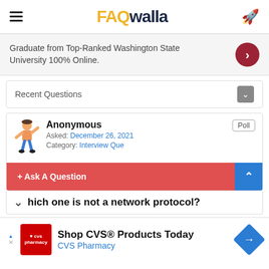FAQwalla
Graduate from Top-Ranked Washington State University 100% Online.
Recent Questions
Anonymous
Asked: December 26, 2021
Category: Interview Questions
hich one is not a network protocol?
Shop CVS® Products Today
CVS Pharmacy